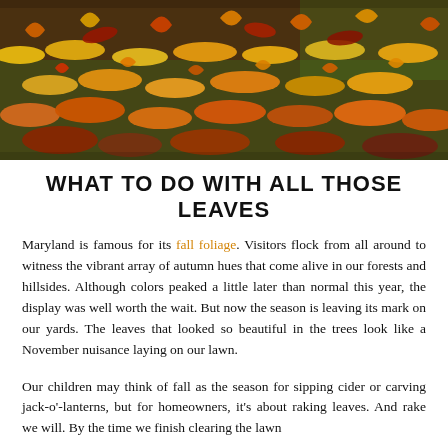[Figure (photo): Aerial view of colorful autumn leaves covering a lawn, showing orange, yellow, red and brown fallen leaves with some green grass visible.]
WHAT TO DO WITH ALL THOSE LEAVES
Maryland is famous for its fall foliage. Visitors flock from all around to witness the vibrant array of autumn hues that come alive in our forests and hillsides. Although colors peaked a little later than normal this year, the display was well worth the wait. But now the season is leaving its mark on our yards. The leaves that looked so beautiful in the trees look like a November nuisance laying on our lawn.
Our children may think of fall as the season for sipping cider or carving jack-o'-lanterns, but for homeowners, it's about raking leaves. And rake we will. By the time we finish clearing the lawn